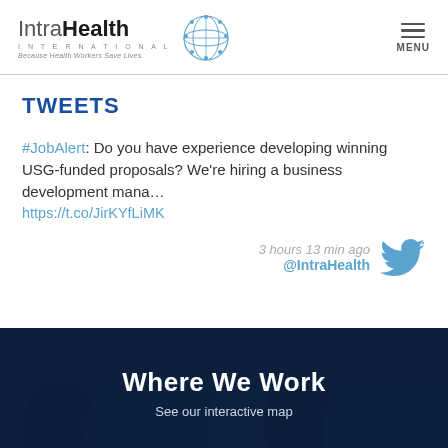IntraHealth International — Because Health Workers Save Lives — MENU
TWEETS
#JobAlert: Do you have experience developing winning USG-funded proposals? We're hiring a business development mana… https://t.co/JirKYfLiMK
3 hours 13 min ago @IntraHealth
[Figure (screenshot): Where We Work section with dark blue overlay over photo of women in headscarves]
Where We Work
See our interactive map